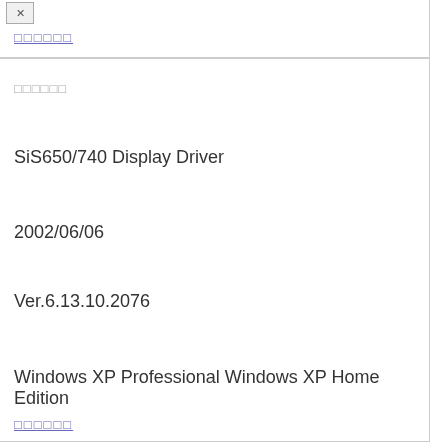□□□□□□ (redacted link)
□□□□□□
SiS650/740 Display Driver
2002/06/06
Ver.6.13.10.2076
Windows XP Professional Windows XP Home Edition
□□□□□□ (redacted link)